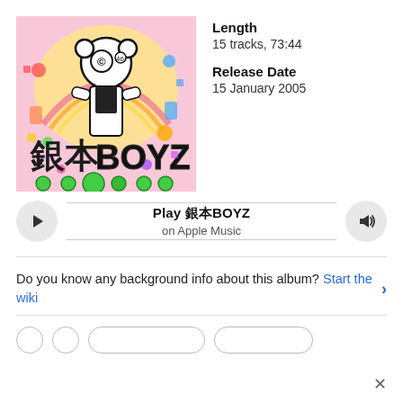[Figure (illustration): Album cover art for 銀本BOYZ — colorful Japanese cartoon/pop-art style with animated characters, bold black Japanese kanji text and 'BOYZ' lettering, bright colors on pink/yellow background]
Length
15 tracks, 73:44
Release Date
15 January 2005
Play 銀本BOYZ on Apple Music
Do you know any background info about this album? Start the wiki